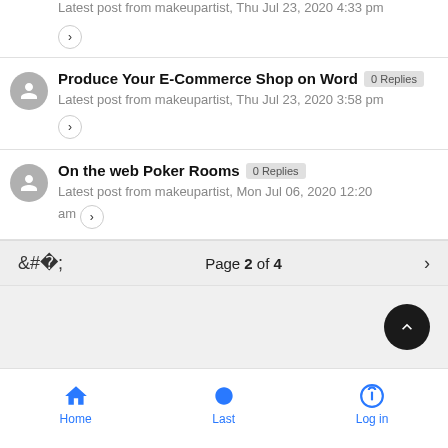Latest post from makeupartist, Thu Jul 23, 2020 4:33 pm
Produce Your E-Commerce Shop on Word — 0 Replies — Latest post from makeupartist, Thu Jul 23, 2020 3:58 pm
On the web Poker Rooms — 0 Replies — Latest post from makeupartist, Mon Jul 06, 2020 12:20 am
Page 2 of 4
Home  Last  Log in